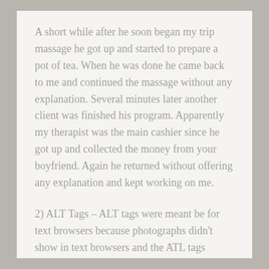A short while after he soon began my trip massage he got up and started to prepare a pot of tea. When he was done he came back to me and continued the massage without any explanation. Several minutes later another client was finished his program. Apparently my therapist was the main cashier since he got up and collected the money from your boyfriend. Again he returned without offering any explanation and kept working on me.
2) ALT Tags – ALT tags were meant be for text browsers because photographs didn't show in text browsers and the ATL tags would tell the visitor what it is about. You should put your main keyword(s) all of the ALT tags, but